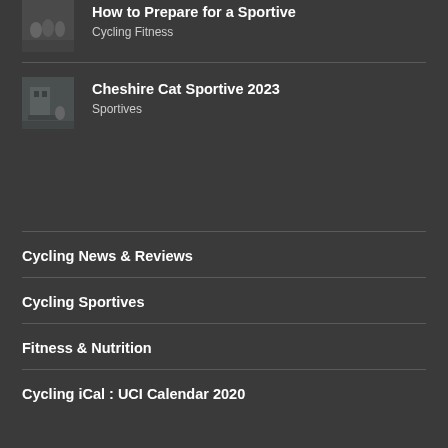[Figure (photo): Thumbnail photo of cyclists riding on a road (partial crop at top of page)]
How to Prepare for a Sportive
Cycling Fitness
[Figure (photo): Thumbnail photo of cyclists near a building for Cheshire Cat Sportive 2023]
Cheshire Cat Sportive 2023
Sportives
Cycling News & Reviews
Cycling Sportives
Fitness & Nutrition
Cycling iCal : UCI Calendar 2020